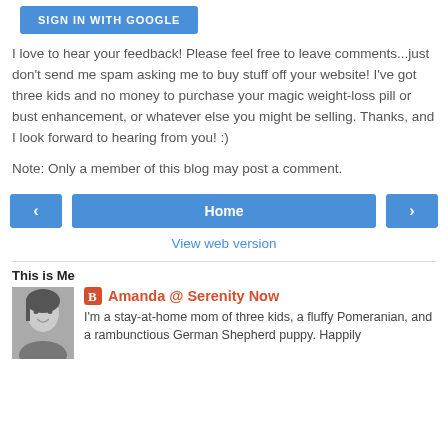[Figure (screenshot): Blue 'Sign in with Google' button (partially visible at top)]
I love to hear your feedback! Please feel free to leave comments...just don't send me spam asking me to buy stuff off your website! I've got three kids and no money to purchase your magic weight-loss pill or bust enhancement, or whatever else you might be selling. Thanks, and I look forward to hearing from you! :)
Note: Only a member of this blog may post a comment.
[Figure (screenshot): Navigation buttons: left arrow, Home, right arrow]
View web version
This is Me
[Figure (photo): Black and white portrait photo of a woman smiling]
Amanda @ Serenity Now
I'm a stay-at-home mom of three kids, a fluffy Pomeranian, and a rambunctious German Shepherd puppy. Happily